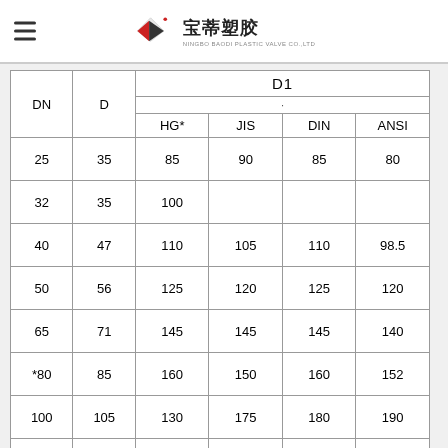宝蒂塑胶
| DN | D | D1 HG* | D1 JIS | D1 DIN | D1 ANSI |
| --- | --- | --- | --- | --- | --- |
| 25 | 35 | 85 | 90 | 85 | 80 |
| 32 | 35 | 100 |  |  |  |
| 40 | 47 | 110 | 105 | 110 | 98.5 |
| 50 | 56 | 125 | 120 | 125 | 120 |
| 65 | 71 | 145 | 145 | 145 | 140 |
| *80 | 85 | 160 | 150 | 160 | 152 |
| 100 | 105 | 130 | 175 | 180 | 190 |
| 125 | 131 | 210 | 210 | 210 | 216 |
| 150 | 153 | 240 | 240 | 240 | 240 |